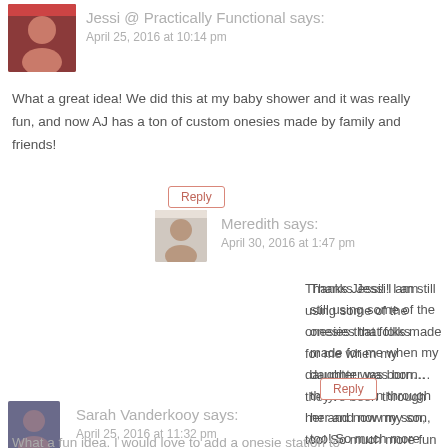[Figure (photo): Avatar photo of Jessi, a woman with dark hair]
Jessi @ Practically Functional says:
April 25, 2016 at 10:14 pm
What a great idea! We did this at my baby shower and it was really fun, and now AJ has a ton of custom onesies made by family and friends!
Reply
[Figure (photo): Avatar photo of Meredith, a woman with light brown hair]
Meredith says:
April 30, 2016 at 1:47 pm
Thanks Jessi! I am still using some of the onesies that folks made for me when my daughter was born…they've been through her and now my son, too! So much more fun than just the plain white ones.
Reply
[Figure (photo): Avatar photo of Sarah Vanderkooy, a woman with dark hair]
Sarah Vanderkooy says:
April 25, 2016 at 11:32 pm
What a fun idea. I would love to add a onesie station to